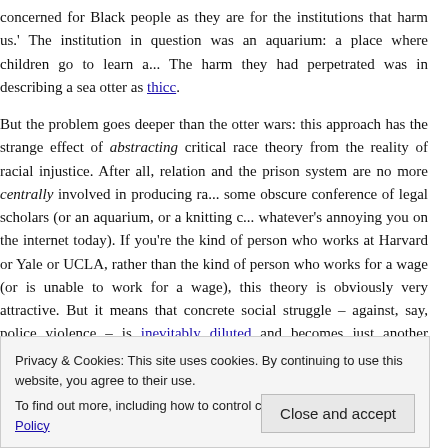concerned for Black people as they are for the institutions that harm us.' The institution in question was an aquarium: a place where children go to learn a... The harm they had perpetrated was in describing a sea otter as thicc.
But the problem goes deeper than the otter wars: this approach has the strange effect of abstracting critical race theory from the reality of racial injustice. After all, ... relation and the prison system are no more centrally involved in producing racial... some obscure conference of legal scholars (or an aquarium, or a knitting c... whatever's annoying you on the internet today). If you're the kind of person who works at Harvard or Yale or UCLA, rather than the kind of person who works for a wage (or is unable to work for a wage), this theory is obviously very attractive. But it means that concrete social struggle – against, say, police violence – is inevitably diluted and becomes just another squabble within institutions.
Critical race theory began by decrying the lack of a theory that responded to ...
Privacy & Cookies: This site uses cookies. By continuing to use this website, you agree to their use.
To find out more, including how to control cookies, see here: Cookie Policy